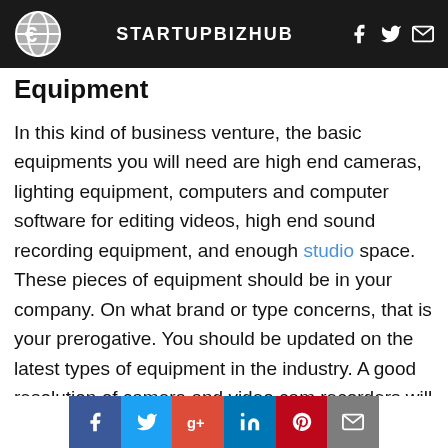STARTUPBIZHUB
Equipment
In this kind of business venture, the basic equipments you will need are high end cameras, lighting equipment, computers and computer software for editing videos, high end sound recording equipment, and enough studio space. These pieces of equipment should be in your company. On what brand or type concerns, that is your prerogative. You should be updated on the latest types of equipment in the industry. A good resolution of camera and video cam recorders will definitely help your company have the great number clients in the near future. You can always add more equ ance the quality of...